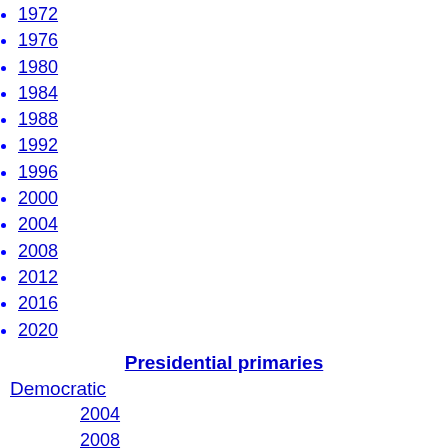1972
1976
1980
1984
1988
1992
1996
2000
2004
2008
2012
2016
2020
Presidential primaries
Democratic
2004
2008
2012
2016
2020
Republican
2004
2008
2012